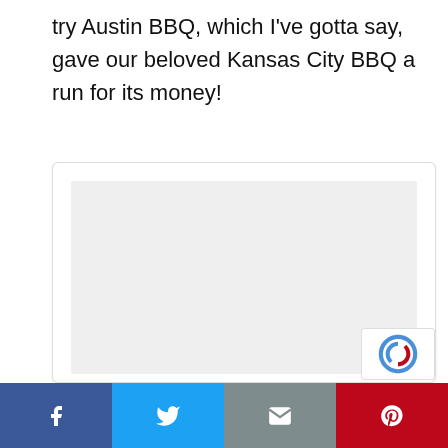try Austin BBQ, which I've gotta say, gave our beloved Kansas City BBQ a run for its money!
[Figure (other): Embedded content card with light gray background, rounded border, and reCAPTCHA badge in bottom-right corner]
[Figure (other): Social sharing bar with four buttons: Facebook (blue), Twitter (light blue), Email (gray), Pinterest (red)]